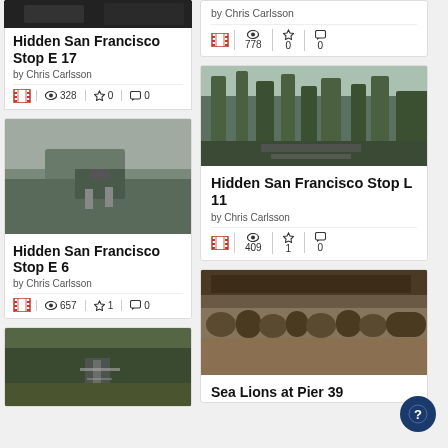[Figure (photo): Partial top photo card for Hidden San Francisco Stop E 17]
Hidden San Francisco Stop E 17
by Chris Carlsson
328 views, 0 stars, 0 comments
[Figure (photo): Foggy aerial city view for Hidden San Francisco Stop E 6]
Hidden San Francisco Stop E 6
by Chris Carlsson
657 views, 1 star, 0 comments
[Figure (photo): Partial road/highway photo]
by Chris Carlsson
778 views, 0 stars, 0 comments
[Figure (photo): Palm tree lined street for Hidden San Francisco Stop L 11]
Hidden San Francisco Stop L 11
by Chris Carlsson
409 views, 1 star, 0 comments
[Figure (photo): Sea Lions at Pier 39 crowd photo]
Sea Lions at Pier 39